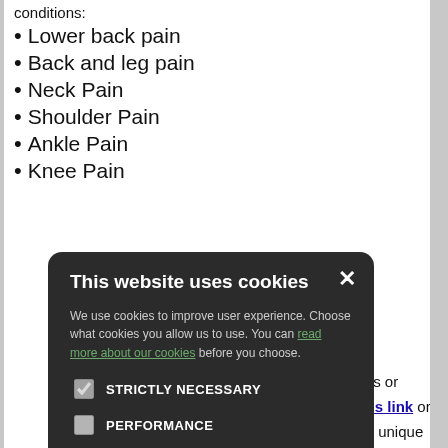conditions:
Lower back pain
Back and leg pain
Neck Pain
Shoulder Pain
Ankle Pain
Knee Pain
[Figure (screenshot): Cookie consent modal overlay on a medical website. Title: 'This website uses cookies'. Body text: 'We use cookies to improve user experience. Choose what cookies you allow us to use. You can read more about our cookies before you choose.' Checkboxes: STRICTLY NECESSARY (checked), PERFORMANCE, TARGETING, FUNCTIONALITY. Buttons: ACCEPT ALL (green), DECLINE ALL (outline).]
ur GPs or on this link or that is unique elp to manage. nformation the asiest access condition , select your account. The atment, needed like